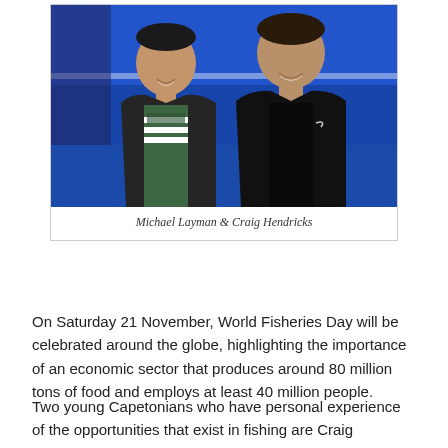[Figure (photo): Two young men standing in front of a blue boat/vessel, smiling at the camera. The man on the left wears a black puffer jacket over a green and white striped GUESS shirt. The man on the right wears an all-black jacket with a Nike logo.]
Michael Layman & Craig Hendricks
On Saturday 21 November, World Fisheries Day will be celebrated around the globe, highlighting the importance of an economic sector that produces around 80 million tons of food and employs at least 40 million people.
Two young Capetonians who have personal experience of the opportunities that exist in fishing are Craig Hendricks and Michel Layman. The two secured year-long internships with the South African Deep-Sea Trawling Industry Association (SADSTIA) in 2019